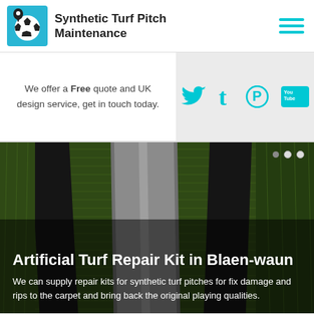[Figure (logo): Synthetic Turf Pitch Maintenance logo: football/soccer ball with cyan background]
Synthetic Turf Pitch Maintenance
[Figure (other): Hamburger menu icon with three cyan horizontal lines]
We offer a Free quote and UK design service, get in touch today.
[Figure (other): Social media icons: Twitter, Tumblr, Pinterest, YouTube in cyan on grey background]
[Figure (photo): Artificial turf repair kit photo showing green synthetic grass with black and silver tape strips]
Artificial Turf Repair Kit in Blaen-waun
We can supply repair kits for synthetic turf pitches for fix damage and rips to the carpet and bring back the original playing qualities.